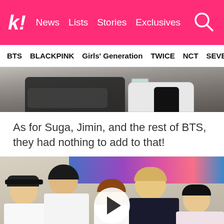k! News Lists Stories Exclusives
BTS BLACKPINK Girls' Generation TWICE NCT SEVE
[Figure (photo): Partial photo showing someone's shoes/legs holding a drink cup]
As for Suga, Jimin, and the rest of BTS, they had nothing to add to that!
[Figure (photo): BTS group members sitting together indoors, with colorful poster/banner in the background, video play button overlay in center]